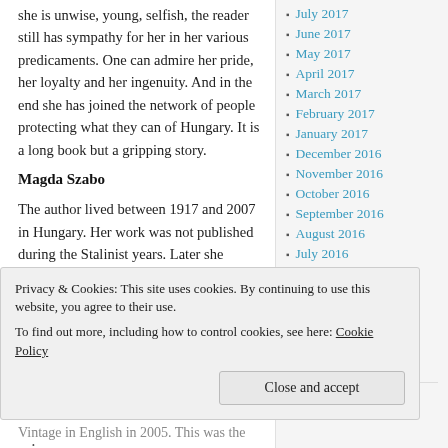she is unwise, young, selfish, the reader still has sympathy for her in her various predicaments. One can admire her pride, her loyalty and her ingenuity. And in the end she has joined the network of people protecting what they can of Hungary. It is a long book but a gripping story.
July 2017
June 2017
May 2017
April 2017
March 2017
February 2017
January 2017
December 2016
November 2016
October 2016
September 2016
August 2016
July 2016
Magda Szabo
The author lived between 1917 and 2007 in Hungary. Her work was not published during the Stalinist years. Later she published several novels which won her great acclaim, the first
Privacy & Cookies: This site uses cookies. By continuing to use this website, you agree to their use.
To find out more, including how to control cookies, see here: Cookie Policy
Close and accept
Vintage in English in 2005. This was the